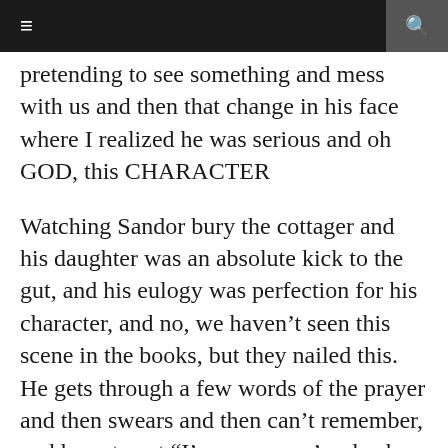≡  🔍
pretending to see something and mess with us and then that change in his face where I realized he was serious and oh GOD, this CHARACTER
Watching Sandor bury the cottager and his daughter was an absolute kick to the gut, and his eulogy was perfection for his character, and no, we haven't seen this scene in the books, but they nailed this. He gets through a few words of the prayer and then swears and then can't remember, and he gets out "I'm sorry you're dead. You deserved better." A few reviews I've read have said something like